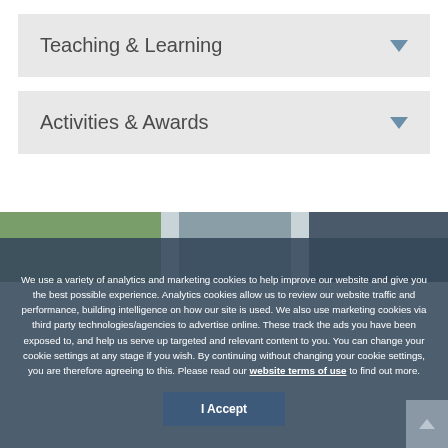Teaching & Learning
Activities & Awards
[Figure (photo): Outdoor photo strip showing greenery and building facades]
We use a variety of analytics and marketing cookies to help improve our website and give you the best possible experience. Analytics cookies allow us to review our website traffic and performance, building intelligence on how our site is used. We also use marketing cookies via third party technologies/agencies to advertise online. These track the ads you have been exposed to, and help us serve up targeted and relevant content to you. You can change your cookie settings at any stage if you wish. By continuing without changing your cookie settings, you are therefore agreeing to this. Please read our website terms of use to find out more.
I Accept